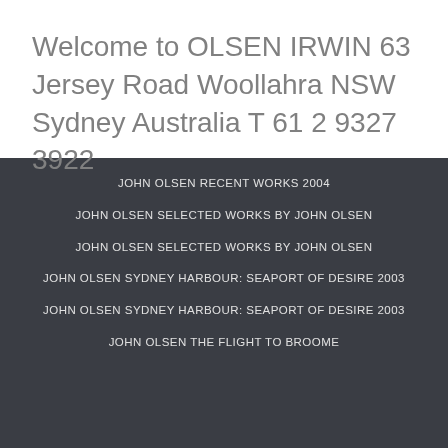Welcome to OLSEN IRWIN 63 Jersey Road Woollahra NSW Sydney Australia T 61 2 9327 3922
JOHN OLSEN RECENT WORKS 2004
JOHN OLSEN SELECTED WORKS BY JOHN OLSEN
JOHN OLSEN SELECTED WORKS BY JOHN OLSEN
JOHN OLSEN SYDNEY HARBOUR: SEAPORT OF DESIRE 2003
JOHN OLSEN SYDNEY HARBOUR: SEAPORT OF DESIRE 2003
JOHN OLSEN THE FLIGHT TO BROOME